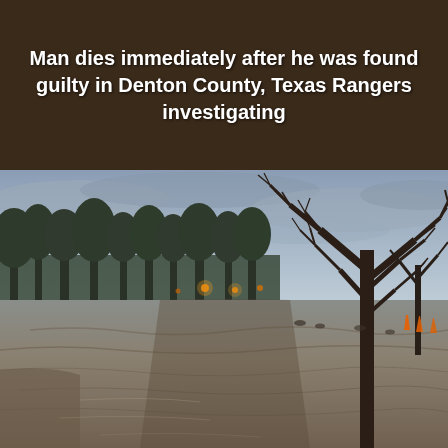Man dies immediately after he was found guilty in Denton County, Texas Rangers investigating
[Figure (photo): Flooded road or park area with bare winter trees in Denton County, Texas. Brown floodwater covers a roadway or field. Several leafless trees are visible, including a large prominent tree on the right side. Orange traffic cones are visible near the waterline on the right. The sky is overcast and grey. Small orange lights are visible in the background through the trees.]